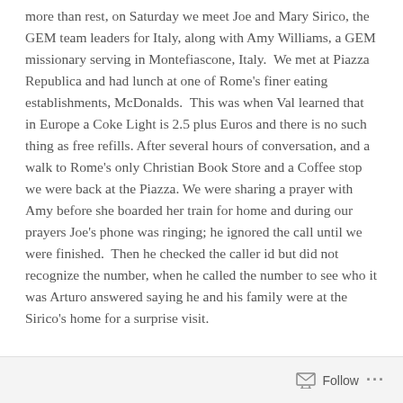more than rest, on Saturday we meet Joe and Mary Sirico, the GEM team leaders for Italy, along with Amy Williams, a GEM missionary serving in Montefiascone, Italy.  We met at Piazza Republica and had lunch at one of Rome's finer eating establishments, McDonalds.  This was when Val learned that in Europe a Coke Light is 2.5 plus Euros and there is no such thing as free refills.  After several hours of conversation, and a walk to Rome's only Christian Book Store and a Coffee stop we were back at the Piazza. We were sharing a prayer with Amy before she boarded her train for home and during our prayers Joe's phone was ringing; he ignored the call until we were finished.  Then he checked the caller id but did not recognize the number, when he called the number to see who it was Arturo answered saying he and his family were at the Sirico's home for a surprise visit.
Follow